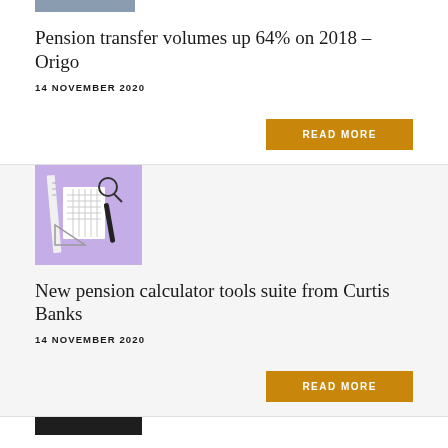[Figure (photo): Partial image at top, grey/blue tones, cropped]
Pension transfer volumes up 64% on 2018 – Origo
14 NOVEMBER 2020
READ MORE
[Figure (photo): Stationery and tools (ruler, compass, magnifier, notepad) on purple background]
New pension calculator tools suite from Curtis Banks
14 NOVEMBER 2020
READ MORE
[Figure (photo): Dark image at bottom, partially visible]